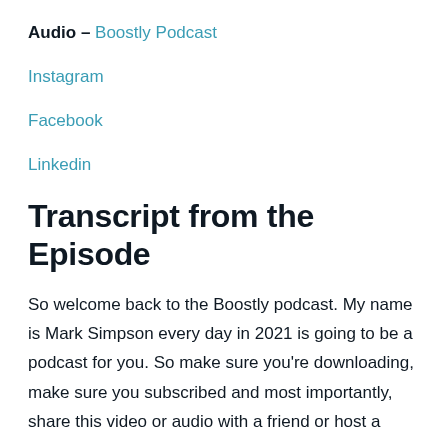Audio – Boostly Podcast
Instagram
Facebook
Linkedin
Transcript from the Episode
So welcome back to the Boostly podcast. My name is Mark Simpson every day in 2021 is going to be a podcast for you. So make sure you're downloading, make sure you subscribed and most importantly, share this video or audio with a friend or host a